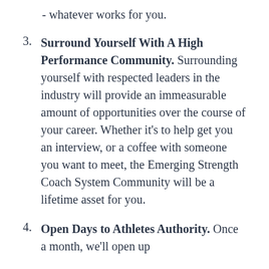- whatever works for you.
3. Surround Yourself With A High Performance Community. Surrounding yourself with respected leaders in the industry will provide an immeasurable amount of opportunities over the course of your career. Whether it's to help get you an interview, or a coffee with someone you want to meet, the Emerging Strength Coach System Community will be a lifetime asset for you.
4. Open Days to Athletes Authority. Once a month, we'll open up